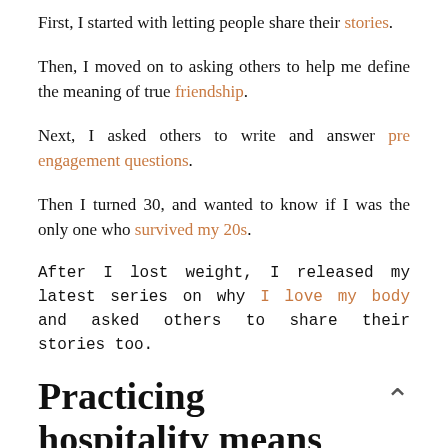First, I started with letting people share their stories.
Then, I moved on to asking others to help me define the meaning of true friendship.
Next, I asked others to write and answer pre engagement questions.
Then I turned 30, and wanted to know if I was the only one who survived my 20s.
After I lost weight, I released my latest series on why I love my body and asked others to share their stories too.
Practicing hospitality means inviting, welcoming, and allowing two or more people to share with each other